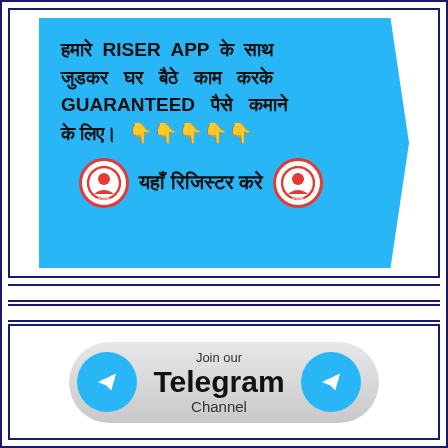[Figure (infographic): Blue hexagonal banner with Hindi text promoting RISER APP. Text reads: हमारे RISER APP के साथ जुडकर घर बैठे काम करके GUARANTEED पैसे कमाने के लिए। 👇👇👇👇👇 यहाँ रिजिस्टर करे. Two red-bordered Riser app icons flank the register text.]
[Figure (infographic): Telegram channel join button graphic. Shows two teal Telegram paper-plane icons on either side of text reading 'Join our Telegram Channel' on a grey gradient rounded rectangle.]